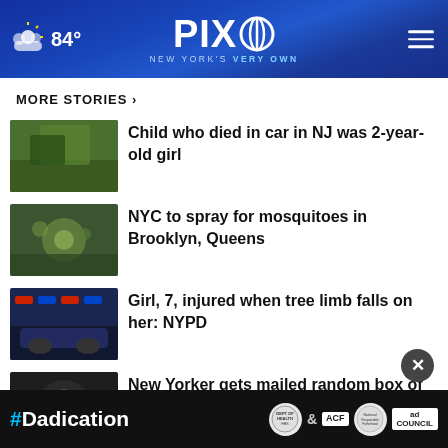PIX 11 NEW YORK'S VERY OWN — 84°
MORE STORIES ›
[Figure (photo): Thumbnail image for news story 1 - outdoor scene]
Child who died in car in NJ was 2-year-old girl
[Figure (photo): Thumbnail image for news story 2 - mosquito/plant close-up]
NYC to spray for mosquitoes in Brooklyn, Queens
[Figure (photo): Thumbnail image for news story 3 - car with police lights]
Girl, 7, injured when tree limb falls on her: NYPD
[Figure (photo): Thumbnail image for news story 4 - lizard silhouette]
New Yorker gets mailed random box of lizards
[Figure (photo): Thumbnail image for news story 5 - partial, cut off at bottom]
[Figure (infographic): Advertisement banner: #Dadication ad with HHS ACF and Ad Council logos]